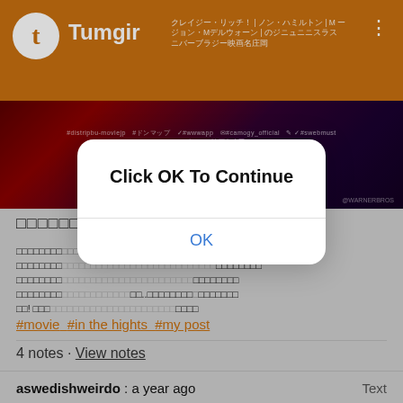Tumgir
[Figure (screenshot): Promotional banner for a movie with date 7.30 (Fri.) in red text on dark red/purple background]
（Japanese characters title text）
（Japanese body text describing In the Heights movie）w  NY（Japanese text continued）
#movie #in the hights #my post
4 notes · View notes
[Figure (screenshot): Modal dialog overlay showing 'Click OK To Continue' with OK button]
aswedishweirdo : a year ago   Text